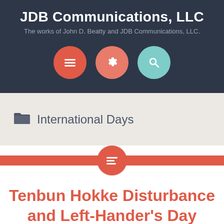JDB Communications, LLC
The works of John D. Beatty and JDB Communications, LLC.
[Figure (other): Three circular navigation buttons: menu (red), settings (salmon), search (teal)]
International Days
[Figure (other): Red horizontal divider bar with a centered circular red button containing a text/list icon]
Tenbun Hokke Disturbance and Left-Hander's Day